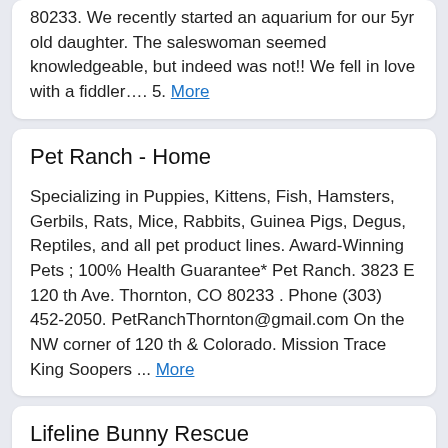80233. We recently started an aquarium for our 5yr old daughter. The saleswoman seemed knowledgeable, but indeed was not!! We fell in love with a fiddler…. 5. More
Pet Ranch - Home
Specializing in Puppies, Kittens, Fish, Hamsters, Gerbils, Rats, Mice, Rabbits, Guinea Pigs, Degus, Reptiles, and all pet product lines. Award-Winning Pets ; 100% Health Guarantee* Pet Ranch. 3823 E 120 th Ave. Thornton, CO 80233 . Phone (303) 452-2050. PetRanchThornton@gmail.com On the NW corner of 120 th & Colorado. Mission Trace King Soopers ... More
Lifeline Bunny Rescue